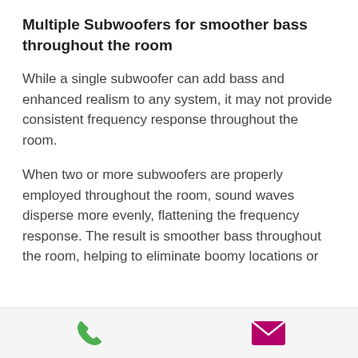Multiple Subwoofers for smoother bass throughout the room
While a single subwoofer can add bass and enhanced realism to any system, it may not provide consistent frequency response throughout the room.
When two or more subwoofers are properly employed throughout the room, sound waves disperse more evenly, flattening the frequency response. The result is smoother bass throughout the room, helping to eliminate boomy locations or
[Figure (other): Footer bar with a green phone icon on the left and a dark pink/magenta envelope (mail) icon on the right]